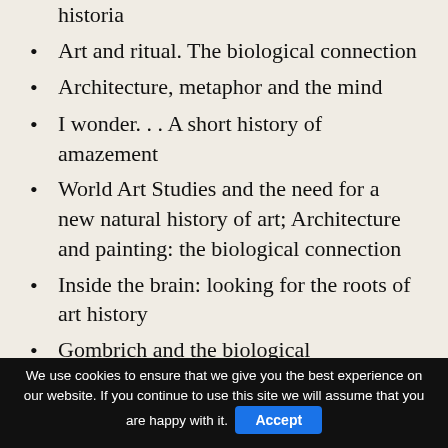historia
Art and ritual. The biological connection
Architecture, metaphor and the mind
I wonder. . . A short history of amazement
World Art Studies and the need for a new natural history of art; Architecture and painting: the biological connection
Inside the brain: looking for the roots of art history
Gombrich and the biological explanation of art
Prehistory. The origins of art
The biological and geographical bases of cultural borders: the case of the earliest
We use cookies to ensure that we give you the best experience on our website. If you continue to use this site we will assume that you are happy with it. Accept